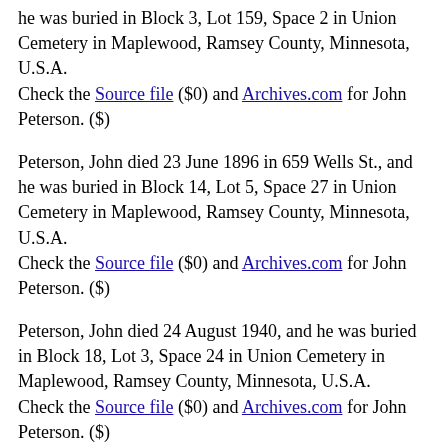he was buried in Block 3, Lot 159, Space 2 in Union Cemetery in Maplewood, Ramsey County, Minnesota, U.S.A.
Check the Source file ($0) and Archives.com for John Peterson. ($)
Peterson, John died 23 June 1896 in 659 Wells St., and he was buried in Block 14, Lot 5, Space 27 in Union Cemetery in Maplewood, Ramsey County, Minnesota, U.S.A.
Check the Source file ($0) and Archives.com for John Peterson. ($)
Peterson, John died 24 August 1940, and he was buried in Block 18, Lot 3, Space 24 in Union Cemetery in Maplewood, Ramsey County, Minnesota, U.S.A.
Check the Source file ($0) and Archives.com for John Peterson. ($)
Peterson, John died 25 October 1960, and he was buried in Section 3W, Block X, Lot 34 W 3', Space 1 in